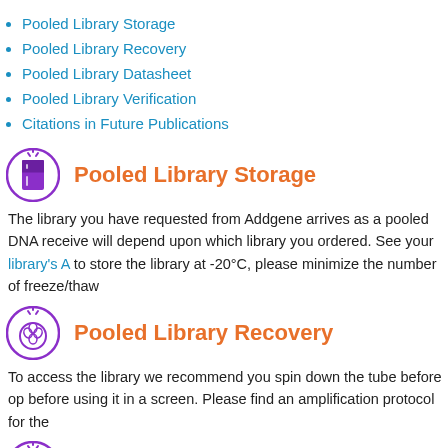Pooled Library Storage
Pooled Library Recovery
Pooled Library Datasheet
Pooled Library Verification
Citations in Future Publications
Pooled Library Storage
The library you have requested from Addgene arrives as a pooled DNA receive will depend upon which library you ordered. See your library's A to store the library at -20°C, please minimize the number of freeze/thaw
Pooled Library Recovery
To access the library we recommend you spin down the tube before op before using it in a screen. Please find an amplification protocol for the
Pooled Library Datasheet
Any and all information Addgene has about your library can be found